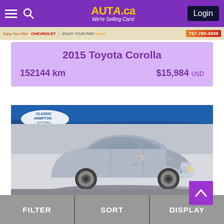Auta.ca — We're Selling Cars! | Login
[Figure (screenshot): Dealer banner with Chevrolet logo and phone number 757-790-4008]
2015 Toyota Corolla
152144 km  $15,984 USD
[Figure (photo): Silver Toyota Venza SUV photographed indoors at Classic Hampton Auto Mall dealership showroom]
FILTER | SORT | DISPLAY